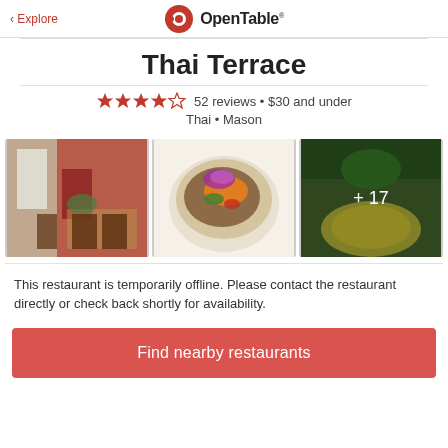< Explore | OpenTable
Thai Terrace
★★★★☆ 52 reviews • $30 and under • Thai • Mason
[Figure (photo): Three restaurant photos: interior dining room with red walls, Thai food dish in bowl with orchid garnish, close-up of food with '+17' overlay]
This restaurant is temporarily offline. Please contact the restaurant directly or check back shortly for availability.
Find nearby restaurants